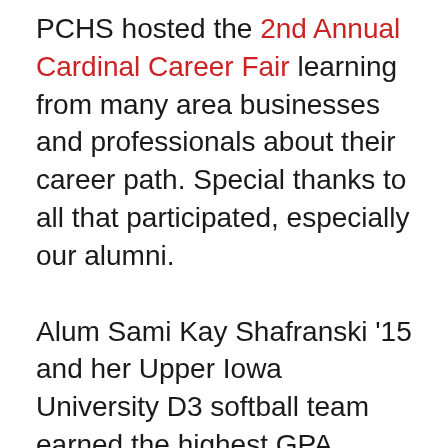PCHS hosted the 2nd Annual Cardinal Career Fair learning from many area businesses and professionals about their career path. Special thanks to all that participated, especially our alumni.
Alum Sami Kay Shafranski '15 and her Upper Iowa University D3 softball team earned the highest GPA among softball teams of all divisions in the country for the 16-17 school year. Of the team, Shafranski was individually awarded with a